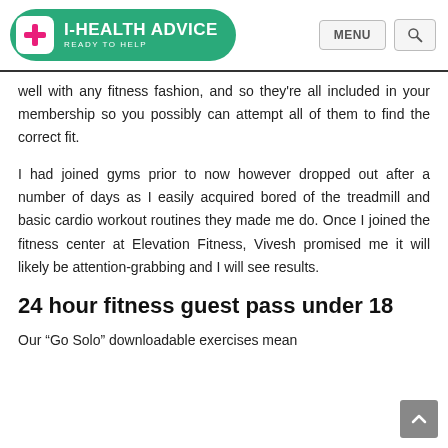I-HEALTH ADVICE — READY TO HELP
well with any fitness fashion, and so they're all included in your membership so you possibly can attempt all of them to find the correct fit.
I had joined gyms prior to now however dropped out after a number of days as I easily acquired bored of the treadmill and basic cardio workout routines they made me do. Once I joined the fitness center at Elevation Fitness, Vivesh promised me it will likely be attention-grabbing and I will see results.
24 hour fitness guest pass under 18
Our “Go Solo” downloadable exercises mean